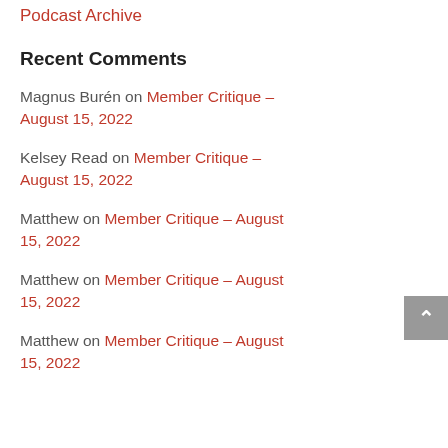Podcast Archive
Recent Comments
Magnus Burén on Member Critique – August 15, 2022
Kelsey Read on Member Critique – August 15, 2022
Matthew on Member Critique – August 15, 2022
Matthew on Member Critique – August 15, 2022
Matthew on Member Critique – August 15, 2022